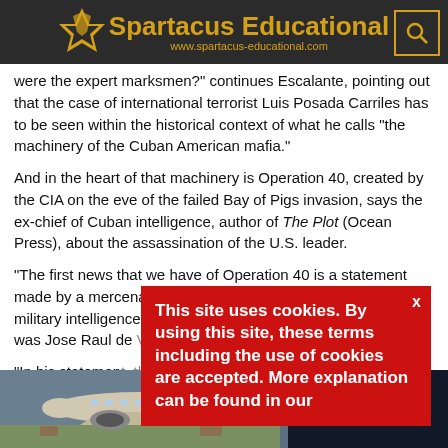Spartacus Educational
www.spartacus-educational.com
were the expert marksmen?" continues Escalante, pointing out that the case of international terrorist Luis Posada Carriles has to be seen within the historical context of what he calls "the machinery of the Cuban American mafia."
And in the heart of that machinery is Operation 40, created by the CIA on the eve of the failed Bay of Pigs invasion, says the ex-chief of Cuban intelligence, author of The Plot (Ocean Press), about the assassination of the U.S. leader.
"The first news that we have of Operation 40 is a statement made by a mercenary of the Bay of Pigs who was the chief of military intelligence of the invading brigade and whose name was Jose Raul de Varona Gonzalez," says Escalante.
"In his statement, that took place at the end of March, 1961, around the time he arrived at the base in Guatemala, he declared that he had been sent by the office of Mr. Joaquin Sanjenis, Chief of Civilian Intelligence, on a mission he said was called
This site uses cookies. By using this site, these terms including the use of cookies are accepted. More explanation can be found in our
[Figure (photo): Bottom banner showing an airplane being loaded with cargo on the left, and a dark background with 'WITHOUT REGARD TO POLITICS, RELIGION, OR ABILITY TO PAY' text on the right.]